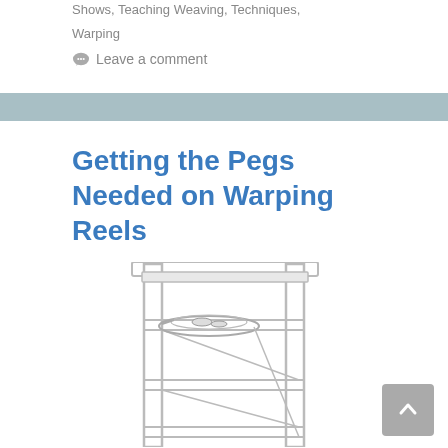Shows, Teaching Weaving, Techniques,
Warping
💬 Leave a comment
Getting the Pegs Needed on Warping Reels
February 23, 2012 by peggyosterkamp
[Figure (illustration): Line drawing of a warping reel frame structure, showing a tall rectangular frame with horizontal bars and a bobbin/yarn holder attached, drawn in light gray lines.]